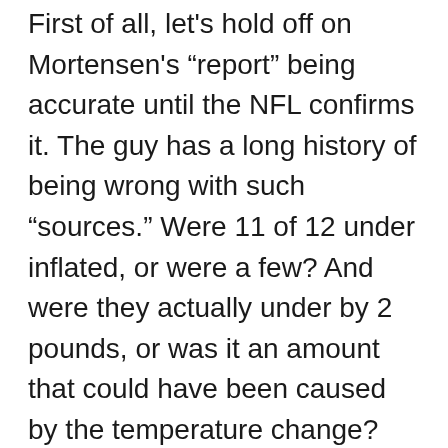First of all, let's hold off on Mortensen's “report” being accurate until the NFL confirms it. The guy has a long history of being wrong with such “sources.” Were 11 of 12 under inflated, or were a few? And were they actually under by 2 pounds, or was it an amount that could have been caused by the temperature change? Maybe the Patriots went for the lower end and it lost some pressure during the game. Very possible. The Globe is saying that the NFL did the check at halftime and found that some were under inflated. Nothing about how